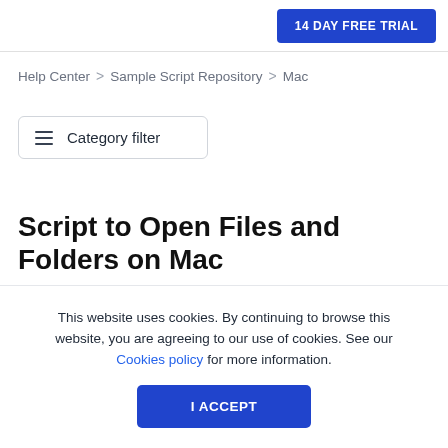14 DAY FREE TRIAL
Help Center > Sample Script Repository > Mac
Category filter
Script to Open Files and Folders on Mac
This website uses cookies. By continuing to browse this website, you are agreeing to our use of cookies. See our Cookies policy for more information.
I ACCEPT